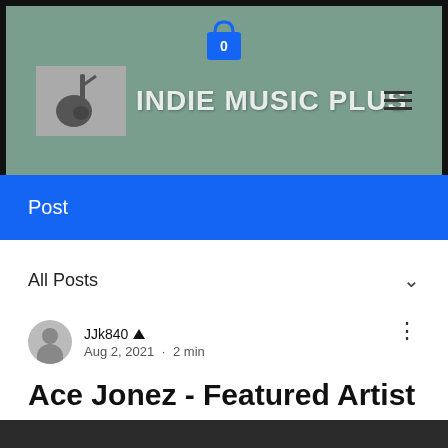[Figure (screenshot): Indie Music Plus website header with sage green background, shopping bag icon with 0, logo with guitar image, site name INDIE MUSIC PLUS, and hamburger menu icon]
Post
All Posts
JJk840 Admin
Aug 2, 2021 · 2 min
Ace Jonez - Featured Artist
[Figure (photo): Partial bottom image strip, dark background]